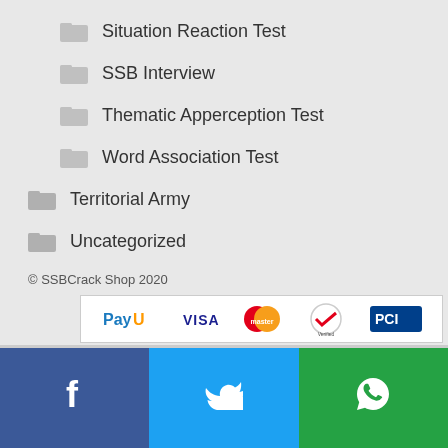Situation Reaction Test
SSB Interview
Thematic Apperception Test
Word Association Test
Territorial Army
Uncategorized
© SSBCrack Shop 2020
[Figure (logo): Payment logos: PayU, Visa, MasterCard, VeriSign, PCI Security Standards Council]
[Figure (infographic): Social share bar with Facebook, Twitter, WhatsApp buttons]